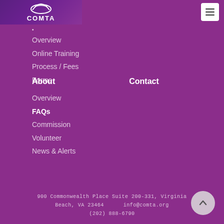COMTA
•
Overview
Online Training
Process / Fees
Forms
About
Contact
Overview
FAQs
Commission
Volunteer
News & Alerts
900 Commonwealth Place Suite 200-331, Virginia Beach, VA 23464   info@comta.org   (202) 888-6790